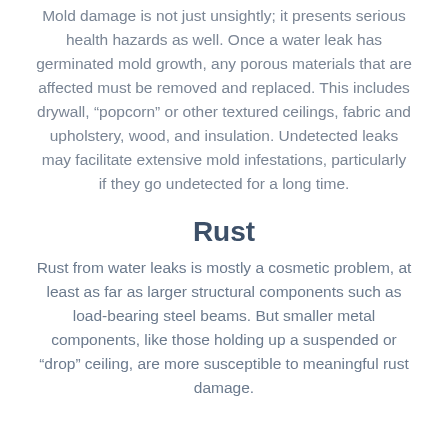Mold damage is not just unsightly; it presents serious health hazards as well. Once a water leak has germinated mold growth, any porous materials that are affected must be removed and replaced. This includes drywall, “popcorn” or other textured ceilings, fabric and upholstery, wood, and insulation. Undetected leaks may facilitate extensive mold infestations, particularly if they go undetected for a long time.
Rust
Rust from water leaks is mostly a cosmetic problem, at least as far as larger structural components such as load-bearing steel beams. But smaller metal components, like those holding up a suspended or “drop” ceiling, are more susceptible to meaningful rust damage.